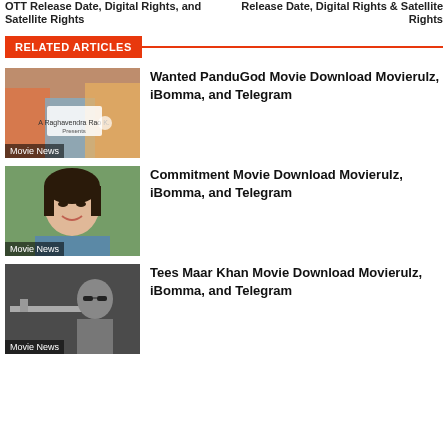OTT Release Date, Digital Rights, and Satellite Rights
Release Date, Digital Rights & Satellite Rights
RELATED ARTICLES
[Figure (photo): Movie promotional image with cast, labeled Movie News]
Wanted PanduGod Movie Download Movierulz, iBomma, and Telegram
[Figure (photo): Actress photo, labeled Movie News]
Commitment Movie Download Movierulz, iBomma, and Telegram
[Figure (photo): Black and white actor photo with gun, labeled Movie News]
Tees Maar Khan Movie Download Movierulz, iBomma, and Telegram